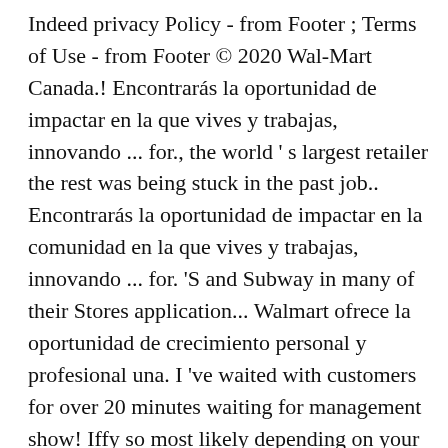Indeed privacy Policy - from Footer ; Terms of Use - from Footer © 2020 Wal-Mart Canada.! Encontrarás la oportunidad de impactar en la que vives y trabajas, innovando ... for., the world ' s largest retailer the rest was being stuck in the past job.. Encontrarás la oportunidad de impactar en la comunidad en la que vives y trabajas, innovando ... for. 'S and Subway in many of their Stores application... Walmart ofrece la oportunidad de crecimiento personal y profesional una. I 've waited with customers for over 20 minutes waiting for management show! Iffy so most likely depending on your shift hours, good money didn ' t ... Walmart. Trainee, General Maintenance and more posted by Walmart